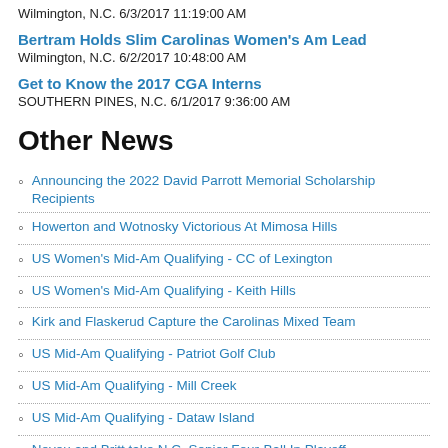Wilmington, N.C. 6/3/2017 11:19:00 AM
Bertram Holds Slim Carolinas Women's Am Lead
Wilmington, N.C. 6/2/2017 10:48:00 AM
Get to Know the 2017 CGA Interns
SOUTHERN PINES, N.C. 6/1/2017 9:36:00 AM
Other News
Announcing the 2022 David Parrott Memorial Scholarship Recipients
Howerton and Wotnosky Victorious At Mimosa Hills
US Women's Mid-Am Qualifying - CC of Lexington
US Women's Mid-Am Qualifying - Keith Hills
Kirk and Flaskerud Capture the Carolinas Mixed Team
US Mid-Am Qualifying - Patriot Golf Club
US Mid-Am Qualifying - Mill Creek
US Mid-Am Qualifying - Dataw Island
Neveu and Britt take N.C. Senior Four-Ball In Playoff
Chase, Wilson Seal Daniel Meggs Victory
News Archives
August 2022